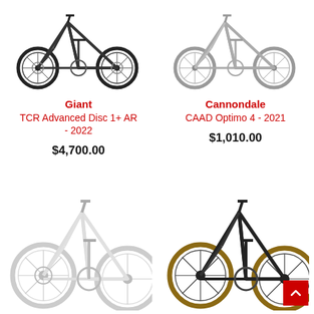[Figure (photo): Road bike (dark/black), Giant TCR Advanced Disc 1+ AR - 2022, viewed from the side]
Giant
TCR Advanced Disc 1+ AR - 2022
$4,700.00
[Figure (photo): Road bike (light silver/grey), Cannondale CAAD Optimo 4 - 2021, viewed from the side]
Cannondale
CAAD Optimo 4 - 2021
$1,010.00
[Figure (photo): Road bike (white), bottom-left, partial view]
[Figure (photo): Road bike (dark/black with tan tires), bottom-right, partial view]